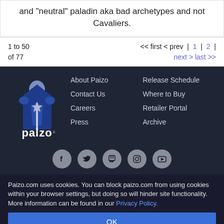and "neutral" paladin aka bad archetypes and not Cavaliers.
1 to 50 of 77
<< first < prev | 1 | 2 | next > last >>
[Figure (logo): Paizo logo: armored figure in blue coat, text 'paizo' below]
About Paizo
Contact Us
Careers
Press
Release Schedule
Where to Buy
Retailer Portal
Archive
[Figure (infographic): Social media icons: Facebook, Twitter, Twitch, Instagram, YouTube]
Paizo.com uses cookies. You can block paizo.com from using cookies within your browser settings, but doing so will hinder site functionality. More information can be found in our Privacy Policy.
OK